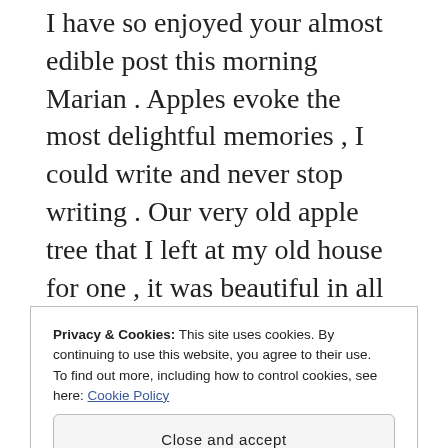I have so enjoyed your almost edible post this morning Marian . Apples evoke the most delightful memories , I could write and never stop writing . Our very old apple tree that I left at my old house for one , it was beautiful in all seasons , Autumn was its best with an an abundance of golden rosy apples that I made into pies , puddings , tarts , sauces and toffee apples . In the winter my tree was cloaked in snow ,in the spring laced with pinky white blossom and the summer it was a shelter from the sun . Beneath its fine roots lie two of my beloved dogs that I'll never
Privacy & Cookies: This site uses cookies. By continuing to use this website, you agree to their use. To find out more, including how to control cookies, see here: Cookie Policy
Close and accept
mmmmmm if you want me to send you the recipe I